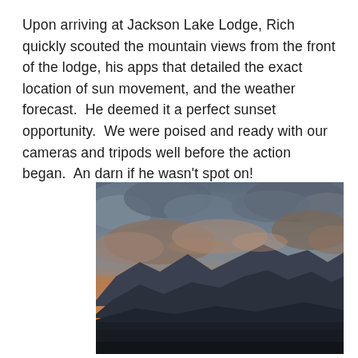Upon arriving at Jackson Lake Lodge, Rich quickly scouted the mountain views from the front of the lodge, his apps that detailed the exact location of sun movement, and the weather forecast.  He deemed it a perfect sunset opportunity.  We were poised and ready with our cameras and tripods well before the action began.  An darn if he wasn't spot on!
[Figure (photo): Photograph of a dramatic mountain sunset at Jackson Lake Lodge. Dark mountain silhouettes line the horizon with a brilliant golden-orange glow of the setting sun behind them. Above, clouds are dramatically lit with blue-grey tones. The foreground shows a dark open field.]